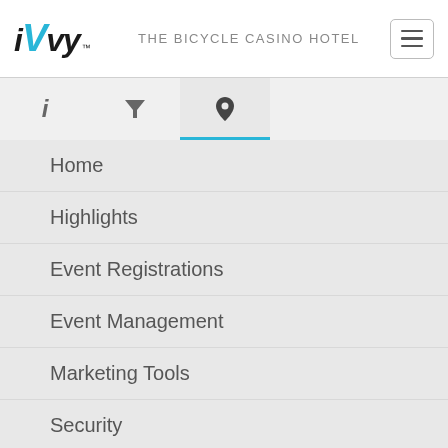iVvy | THE BICYCLE CASINO HOTEL
[Figure (screenshot): Navigation tab bar with info, filter, and location pin icons; location pin tab is active with blue underline]
Home
Highlights
Event Registrations
Event Management
Marketing Tools
Security
Feature List
Venue Software
Home
Highlights
Sales & Catering